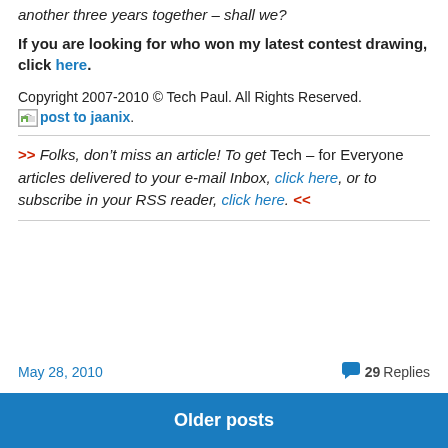another three years together – shall we?
If you are looking for who won my latest contest drawing, click here.
Copyright 2007-2010 © Tech Paul. All Rights Reserved.
jaanix post to jaanix.
>> Folks, don't miss an article! To get Tech – for Everyone articles delivered to your e-mail Inbox, click here, or to subscribe in your RSS reader, click here. <<
May 28, 2010   29 Replies
Older posts